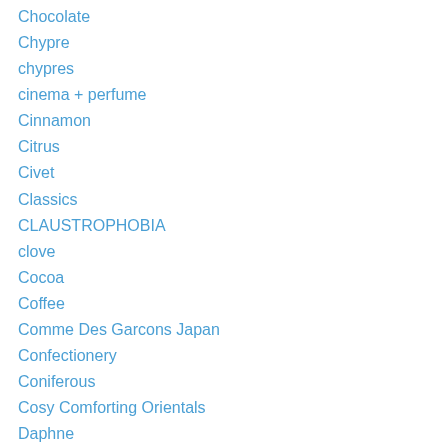Chocolate
Chypre
chypres
cinema + perfume
Cinnamon
Citrus
Civet
Classics
CLAUSTROPHOBIA
clove
Cocoa
Coffee
Comme Des Garcons Japan
Confectionery
Coniferous
Cosy Comforting Orientals
Daphne
Depressed
destroying the shackles of heterosexuality
diptychs